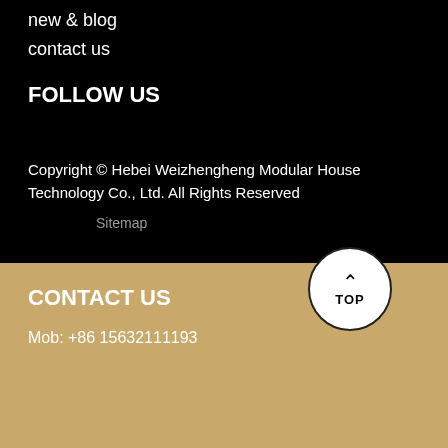new & blog
contact us
FOLLOW US
Copyright © Hebei Weizhengheng Modular House Technology Co., Ltd. All Rights Reserved
Sitemap
CONTACT US
Mob: +86 15632111193